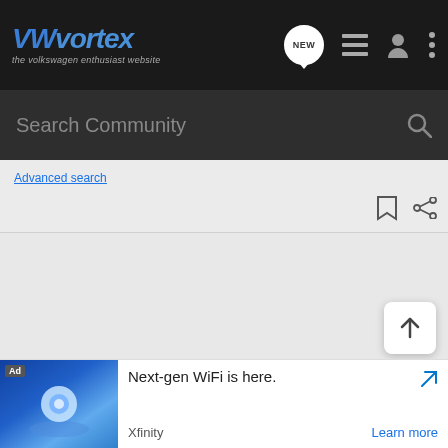[Figure (screenshot): VWVortex website header with dark background, logo on left, and icons (NEW chat bubble, list, user, menu) on right]
Search Community
Advanced search
[Figure (screenshot): Bookmark and share icons in the top-right of the content area]
[Figure (screenshot): Gray empty content area with back-to-top arrow button]
[Figure (screenshot): Ad banner: Next-gen WiFi is here. Xfinity. Learn more. Ad badge with device image.]
Next-gen WiFi is here.
Xfinity
Learn more